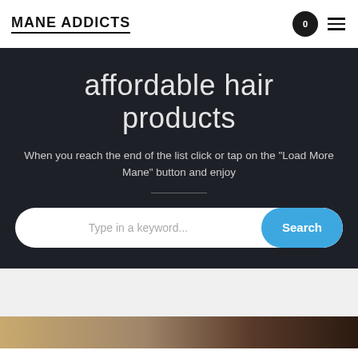MANE ADDICTS
affordable hair products
When you reach the end of the list click or tap on the "Load More Mane" button and enjoy
[Figure (screenshot): Search bar with text input placeholder 'Type in a keyword...' and blue 'Search' button]